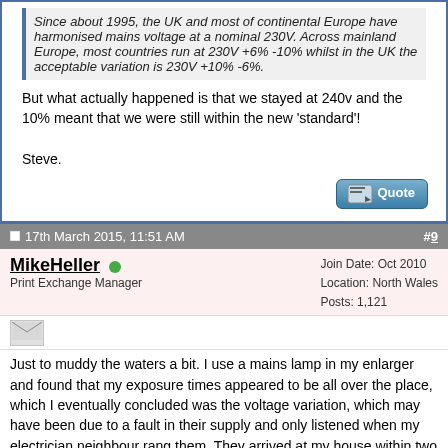Since about 1995, the UK and most of continental Europe have harmonised mains voltage at a nominal 230V. Across mainland Europe, most countries run at 230V +6% -10% whilst in the UK the acceptable variation is 230V +10% -6%.
But what actually happened is that we stayed at 240v and the 10% meant that we were still within the new 'standard'!
Steve.
17th March 2015, 11:51 AM   #9
MikeHeller
Print Exchange Manager
Join Date: Oct 2010
Location: North Wales
Posts: 1,121
Just to muddy the waters a bit. I use a mains lamp in my enlarger and found that my exposure times appeared to be all over the place, which I eventually concluded was the voltage variation, which may have been due to a fault in their supply and only listened when my electrician neighbour rang them. They arrived at my house within two hours having ignored my complaints for months AND putting in monitoring equipment for some time: I don't know what he said to them but they found a cracked insulator up a nearby pole.
Anyway, at least the house lights no longer dim periodically but I run my enlarger off a 12V Battery and invertor to avoid any voltage